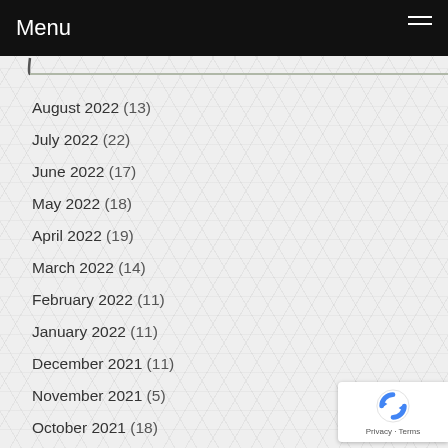Menu
August 2022 (13)
July 2022 (22)
June 2022 (17)
May 2022 (18)
April 2022 (19)
March 2022 (14)
February 2022 (11)
January 2022 (11)
December 2021 (11)
November 2021 (5)
October 2021 (18)
September 2021 (6)
August 2021 (3)
July 2021 (4)